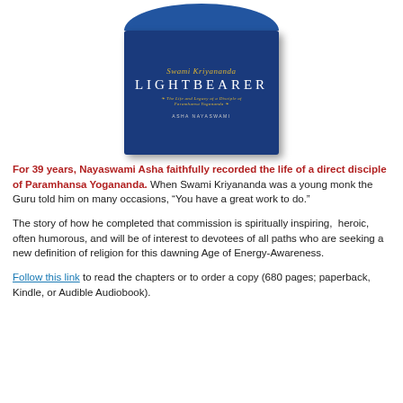[Figure (photo): Book cover of 'Swami Kriyananda Lightbearer: The Life and Legacy of a Disciple of Paramhansa Yogananda' by Asha Nayaswami. Blue cover with gold and white lettering, showing a partial photo of a person at the top.]
For 39 years, Nayaswami Asha faithfully recorded the life of a direct disciple of Paramhansa Yogananda. When Swami Kriyananda was a young monk the Guru told him on many occasions, “You have a great work to do.”
The story of how he completed that commission is spiritually inspiring, heroic, often humorous, and will be of interest to devotees of all paths who are seeking a new definition of religion for this dawning Age of Energy-Awareness.
Follow this link to read the chapters or to order a copy (680 pages; paperback, Kindle, or Audible Audiobook).